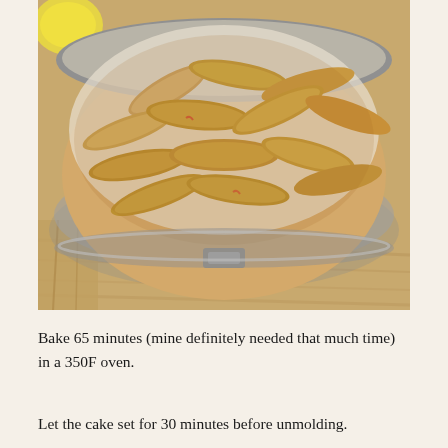[Figure (photo): A springform pan lined with parchment paper, filled with apple slices coated in cinnamon sugar, arranged on a wooden surface. A lemon is partially visible in the top left corner.]
Bake 65 minutes (mine definitely needed that much time) in a 350F oven.
Let the cake set for 30 minutes before unmolding.